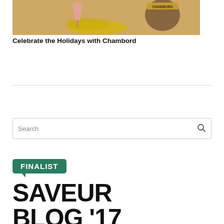[Figure (photo): Photo of Chambord liqueur bottle with gold tinsel decorations, holiday themed cocktail setup]
Celebrate the Holidays with Chambord
Search
[Figure (logo): Saveur Blog Awards 2017 Finalist badge — green speech bubble with FINALIST text above SAVEUR BLOG '17 in large bold black text]